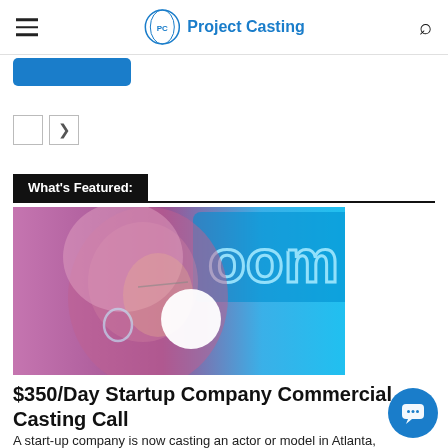Project Casting
[Figure (screenshot): Partial blue button/banner at top of page]
[Figure (other): Pagination controls with forward arrow button]
What's Featured:
[Figure (photo): Photo of a woman with blonde hair and glasses looking sideways in front of a blue neon 'Zoom' sign]
$350/Day Startup Company Commercial Casting Call
A start-up company is now casting an actor or model in Atlanta,